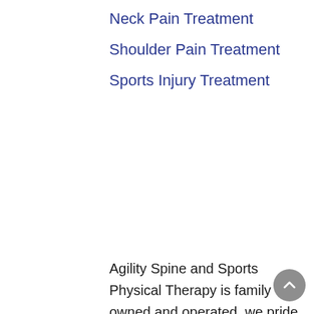Neck Pain Treatment
Shoulder Pain Treatment
Sports Injury Treatment
Agility Spine and Sports Physical Therapy is family owned and operated, we pride ourselves in delivering a comfortable family experience to our patients. Patient care is our primary focus in our facility, we work to educate and heal with our passion and ability to strategize treatments that are exclusive to each and every one of our patients. Many of our patients come to us looking for professional post surgical rehabilitation Tucson that will get them back to their normal active lifestyle faster and with the